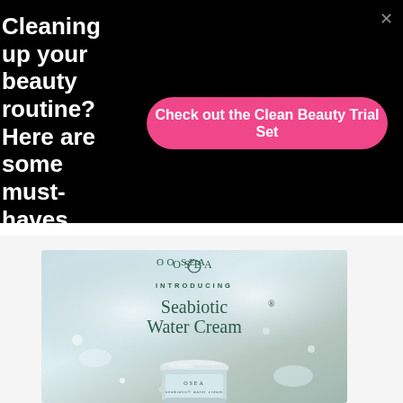Cleaning up your beauty routine? Here are some must-haves...
✕
Check out the Clean Beauty Trial Set
[Figure (photo): OSEA brand product advertisement showing a jar of Seabiotic® Water Cream with text 'OSEA / INTRODUCING / Seabiotic® Water Cream' over a watery, pearlescent background with the product jar visible at bottom.]